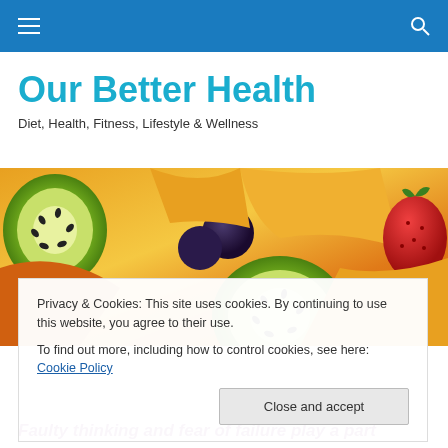Our Better Health – navigation bar
Our Better Health
Diet, Health, Fitness, Lifestyle & Wellness
[Figure (photo): Close-up macro photo of fresh fruits: kiwi slices, blueberries, melon/cantaloupe chunks, and strawberries on a bright colorful background]
Privacy & Cookies: This site uses cookies. By continuing to use this website, you agree to their use.
To find out more, including how to control cookies, see here: Cookie Policy
Close and accept
Faulty thinking and fear of failure play a part